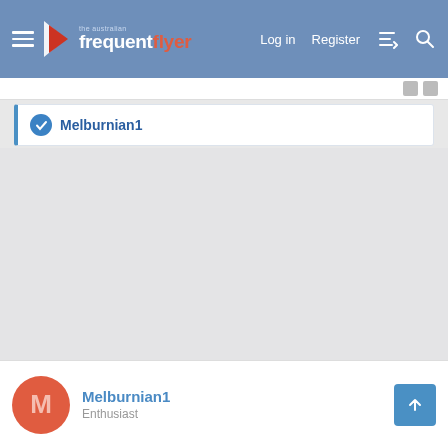the australian frequent flyer — Log in | Register
Melburnian1
Melburnian1
Enthusiast